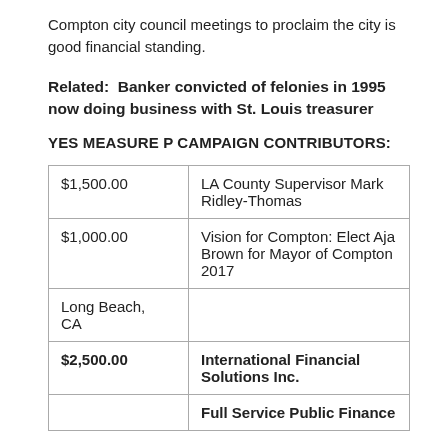Compton city council meetings to proclaim the city is good financial standing.
Related: Banker convicted of felonies in 1995 now doing business with St. Louis treasurer
YES MEASURE P CAMPAIGN CONTRIBUTORS:
| Amount | Contributor |
| --- | --- |
| $1,500.00 | LA County Supervisor Mark Ridley-Thomas |
| $1,000.00 | Vision for Compton: Elect Aja Brown for Mayor of Compton 2017 |
| Long Beach, CA |  |
| $2,500.00 | International Financial Solutions Inc. |
|  | Full Service Public Finance |